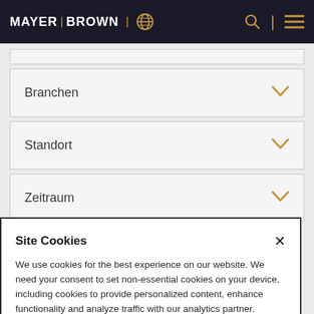MAYER | BROWN
Branchen
Standort
Zeitraum
Site Cookies
We use cookies for the best experience on our website. We need your consent to set non-essential cookies on your device, including cookies to provide personalized content, enhance functionality and analyze traffic with our analytics partner. Please select one of the options shown. Cookie Policy